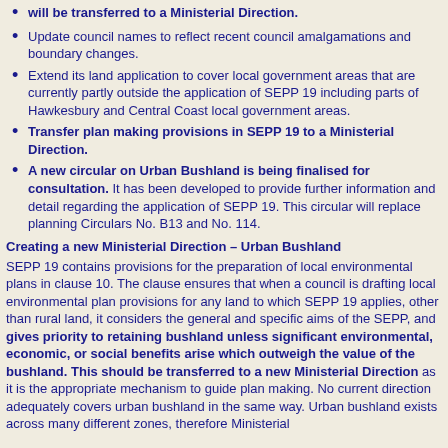will be transferred to a Ministerial Direction.
Update council names to reflect recent council amalgamations and boundary changes.
Extend its land application to cover local government areas that are currently partly outside the application of SEPP 19 including parts of Hawkesbury and Central Coast local government areas.
Transfer plan making provisions in SEPP 19 to a Ministerial Direction.
A new circular on Urban Bushland is being finalised for consultation. It has been developed to provide further information and detail regarding the application of SEPP 19. This circular will replace planning Circulars No. B13 and No. 114.
Creating a new Ministerial Direction – Urban Bushland
SEPP 19 contains provisions for the preparation of local environmental plans in clause 10. The clause ensures that when a council is drafting local environmental plan provisions for any land to which SEPP 19 applies, other than rural land, it considers the general and specific aims of the SEPP, and gives priority to retaining bushland unless significant environmental, economic, or social benefits arise which outweigh the value of the bushland. This should be transferred to a new Ministerial Direction as it is the appropriate mechanism to guide plan making. No current direction adequately covers urban bushland in the same way. Urban bushland exists across many different zones, therefore Ministerial